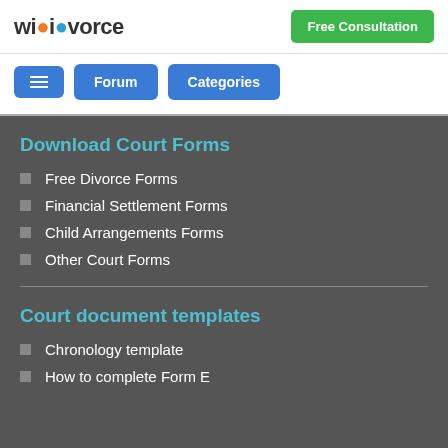[Figure (logo): Wikivorce logo with orange and blue icons]
Free Consultation
[Figure (screenshot): Navigation bar with hamburger menu, Forum and Categories buttons]
Download Court Forms
Free Divorce Forms
Financial Settlement Forms
Child Arrangements Forms
Other Court Forms
Court document templates
Chronology template
How to complete Form E